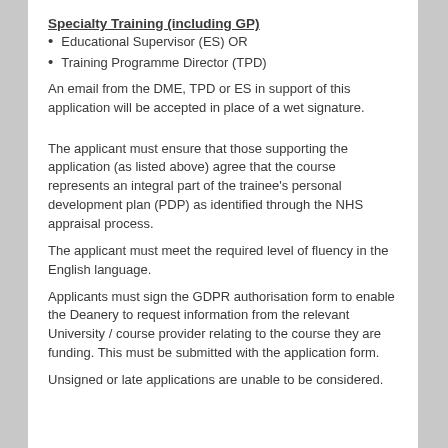Specialty Training (including GP)
Educational Supervisor (ES) OR
Training Programme Director (TPD)
An email from the DME, TPD or ES in support of this application will be accepted in place of a wet signature.
The applicant must ensure that those supporting the application (as listed above) agree that the course represents an integral part of the trainee's personal development plan (PDP) as identified through the NHS appraisal process.
The applicant must meet the required level of fluency in the English language.
Applicants must sign the GDPR authorisation form to enable the Deanery to request information from the relevant University / course provider relating to the course they are funding. This must be submitted with the application form.
Unsigned or late applications are unable to be considered.